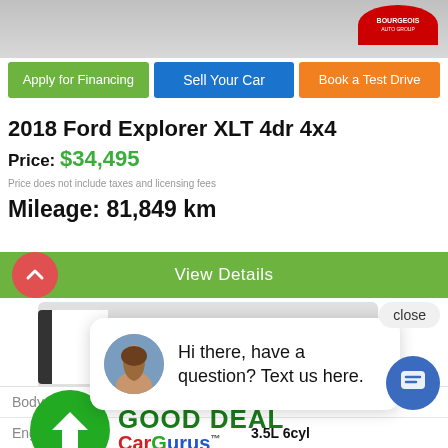[Figure (screenshot): Top banner with dealership logo on grey background]
Apply for Financing
Sell Your Car
Book a Test Drive
2018 Ford Explorer XLT 4dr 4x4
Price: $34,495
Price does not include taxes and licensing fees
Mileage: 81,849 km
View Details
close
[Figure (photo): Chat popup with woman avatar and text: Hi there, have a question? Text us here.]
[Figure (logo): CarGurus GOOD DEAL badge with green arrow circle logo]
| Body Style: | Engine: |
| --- | --- |
| SUV | 3.5L 6cyl |